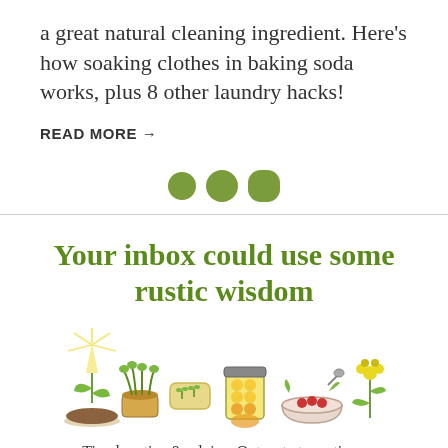a great natural cleaning ingredient. Here's how soaking clothes in baking soda works, plus 8 other laundry hacks!
READ MORE →
[Figure (illustration): Three olive-green dots used as a decorative separator]
Your inbox could use some rustic wisdom
[Figure (illustration): A row of hand-drawn rustic illustrations: a seedling under light, herb plants in a basket, a bar of soap with herbs, a jar of preserved food, a bowl with berries and a spoon, and a flowering plant]
Timeless tips & advice. Opt-out at any time.